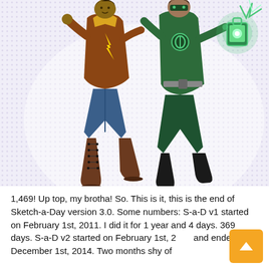[Figure (illustration): Comic book illustration of two superhero characters running/flying. Left character wears a brown jacket with a yellow lightning bolt emblem, jeans, and brown boots with laces. Right character wears green clothing and holds a glowing green lantern. Background has a purple/lavender halftone dot pattern.]
1,469! Up top, my brotha! So. This is it, this is the end of Sketch-a-Day version 3.0. Some numbers: S-a-D v1 started on February 1st, 2011. I did it for 1 year and 4 days. 369 days. S-a-D v2 started on February 1st, 2013 and ended on December 1st, 2014. Two months shy of